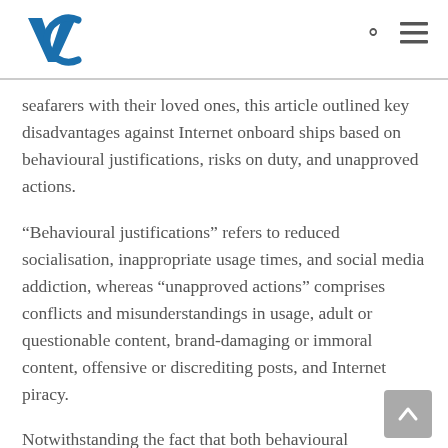VC logo, search icon, menu icon
seafarers with their loved ones, this article outlined key disadvantages against Internet onboard ships based on behavioural justifications, risks on duty, and unapproved actions.
“Behavioural justifications” refers to reduced socialisation, inappropriate usage times, and social media addiction, whereas “unapproved actions” comprises conflicts and misunderstandings in usage, adult or questionable content, brand-damaging or immoral content, offensive or discrediting posts, and Internet piracy.
Notwithstanding the fact that both behavioural justifications and unapproved actions are concerned